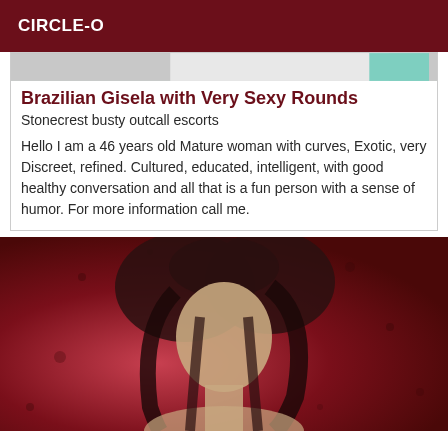CIRCLE-O
[Figure (photo): Partial top of a photo showing a light background with teal/green shape at right edge]
Brazilian Gisela with Very Sexy Rounds
Stonecrest busty outcall escorts
Hello I am a 46 years old Mature woman with curves, Exotic, very Discreet, refined. Cultured, educated, intelligent, with good healthy conversation and all that is a fun person with a sense of humor. For more information call me.
[Figure (photo): Photo of a woman with dark braided hair against a red background, face not clearly visible]